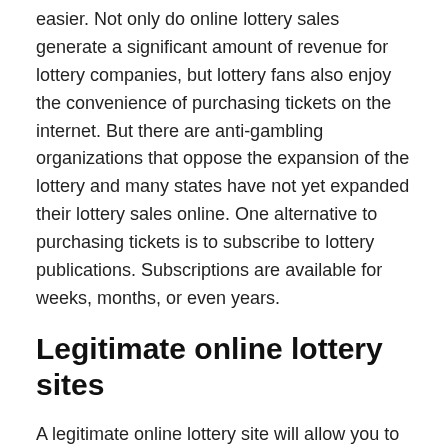The internet has made the lottery purchase process much easier. Not only do online lottery sales generate a significant amount of revenue for lottery companies, but lottery fans also enjoy the convenience of purchasing tickets on the internet. But there are anti-gambling organizations that oppose the expansion of the lottery and many states have not yet expanded their lottery sales online. One alternative to purchasing tickets is to subscribe to lottery publications. Subscriptions are available for weeks, months, or even years.
Legitimate online lottery sites
A legitimate online lottery site will allow you to play more than one lottery at a time. You can check the odds and jackpots of the games you're interested in, and purchase your ticket with the convenience of your smartphone or tablet. Legitimate online lottery sites are mobile-optimized and offer intuitive interfaces that don't require you to download any software.